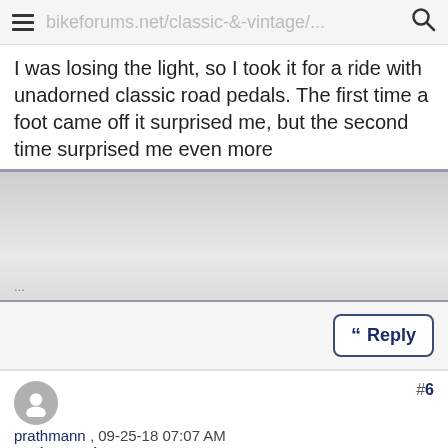I was losing the light, so I took it for a ride with unadorned classic road pedals. The first time a foot came off it surprised me, but the second time surprised me even more
[Figure (photo): Partially visible image placeholder with gradient gray background]
Reply
#6
prathmann , 09-25-18 07:07 AM
Senior Member
Got to try it out just last week when I realized that I'd put on my tennis shoes instead of my SPD sandals when I arrived at the start of our group ride. There was one bumpy road